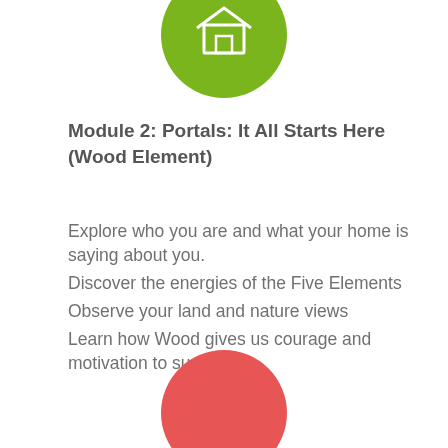[Figure (illustration): Green circular icon partially visible at top center of page]
Module 2: Portals: It All Starts Here (Wood Element)
Explore who you are and what your home is saying about you.
Discover the energies of the Five Elements
Observe your land and nature views
Learn how Wood gives us courage and motivation to succeed
[Figure (illustration): Red/coral circular icon partially visible at bottom center of page]